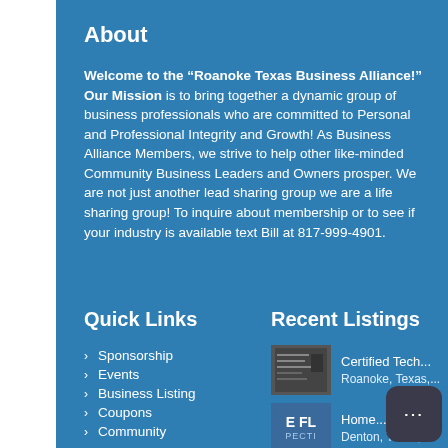About
Welcome to the “Roanoke Texas Business Alliance!” Our Mission is to bring together a dynamic group of business professionals who are committed to Personal and Professional Integrity and Growth!  As Business Alliance Members, we strive to help other like-minded Community Business Leaders and Owners prosper.   We are not just another lead sharing group we are a life sharing group! To inquire about membership or to see if your industry is available text Bill at 817-999-4901.
Quick Links
Recent Listings
Sponsorship
Events
Business Listing
Coupons
Community
[Figure (photo): Thumbnail image for Certified Tech listing]
Certified Tech...
Roanoke, Texas,...
[Figure (logo): E FL PECTI logo thumbnail for Home listing]
Home...
Denton, Texas,...